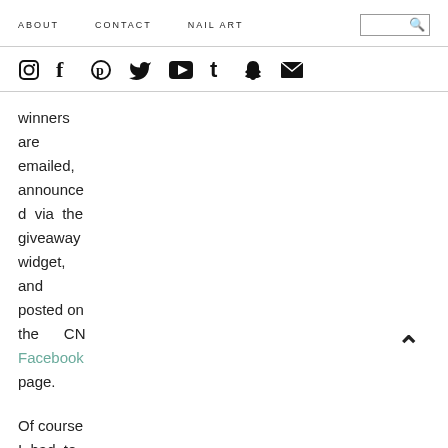ABOUT   CONTACT   NAIL ART
[Figure (infographic): Social media icons row: Instagram, Facebook, Pinterest, Twitter, YouTube, Tumblr, Snapchat, Email]
winners are emailed, announced via the giveaway widget, and posted on the CN Facebook page.
Of course I had to go out